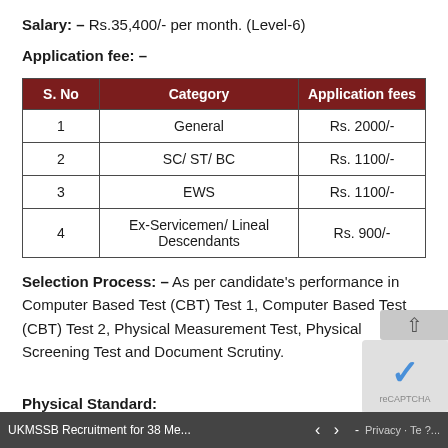Salary: – Rs.35,400/- per month. (Level-6)
Application fee: –
| S. No | Category | Application fees |
| --- | --- | --- |
| 1 | General | Rs. 2000/- |
| 2 | SC/ ST/ BC | Rs. 1100/- |
| 3 | EWS | Rs. 1100/- |
| 4 | Ex-Servicemen/ Lineal Descendants | Rs. 900/- |
Selection Process: – As per candidate's performance in Computer Based Test (CBT) Test 1, Computer Based Test (CBT) Test 2, Physical Measurement Test, Physical Screening Test and Document Scrutiny.
Physical Standard:
UKMSSB Recruitment for 38 Me...   <   >   -   Privacy · Te ?...